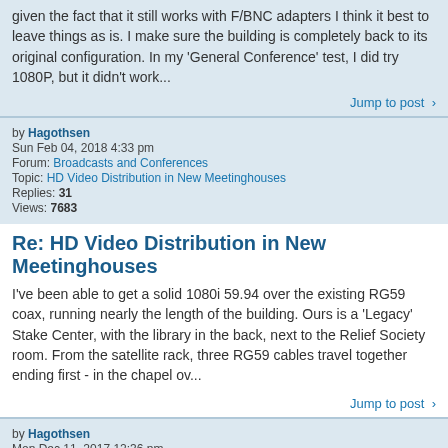given the fact that it still works with F/BNC adapters I think it best to leave things as is. I make sure the building is completely back to its original configuration. In my 'General Conference' test, I did try 1080P, but it didn't work...
Jump to post >
by Hagothsen
Sun Feb 04, 2018 4:33 pm
Forum: Broadcasts and Conferences
Topic: HD Video Distribution in New Meetinghouses
Replies: 31
Views: 7683
Re: HD Video Distribution in New Meetinghouses
I've been able to get a solid 1080i 59.94 over the existing RG59 coax, running nearly the length of the building. Ours is a 'Legacy' Stake Center, with the library in the back, next to the Relief Society room. From the satellite rack, three RG59 cables travel together ending first - in the chapel ov...
Jump to post >
by Hagothsen
Mon Dec 11, 2017 12:36 pm
Forum: Meetinghouse Internet
Topic: POE injectors
Replies: 3
Views: 1234
Re: POE injectors
Thanks!